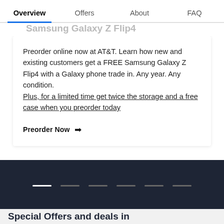Overview  Offers  About  FAQ
Samsung Galaxy Z Flip4
Preorder online now at AT&T. Learn how new and existing customers get a FREE Samsung Galaxy Z Flip4 with a Galaxy phone trade in. Any year. Any condition. Plus, for a limited time get twice the storage and a free case when you preorder today
Preorder Now →
[Figure (other): Dark navigation carousel indicator dots, one white active dot and five grey inactive dots on dark navy background]
Special Offers and deals in